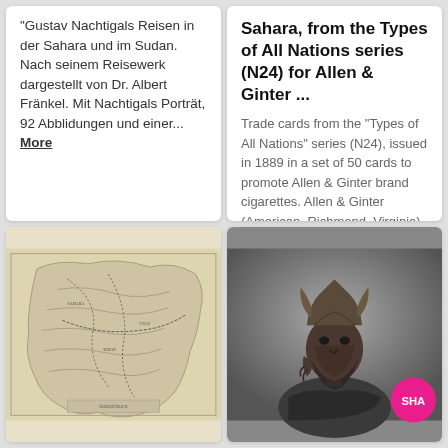"Gustav Nachtigals Reisen in der Sahara und im Sudan. Nach seinem Reisewerk dargestellt von Dr. Albert Fränkel. Mit Nachtigals Porträt, 92 Abblidungen und einer... More
Sahara, from the Types of All Nations series (N24) for Allen & Ginter ...
Trade cards from the "Types of All Nations" series (N24), issued in 1889 in a set of 50 cards to promote Allen & Ginter brand cigarettes. Allen & Ginter (American, Richmond, Virginia)
[Figure (map): Antique map of Africa/Sahara region, beige/sepia toned, showing geographic features and routes]
[Figure (photo): Black and white photograph of a person wearing a traditional horned headdress/mask. SHA badge in bottom right corner.]